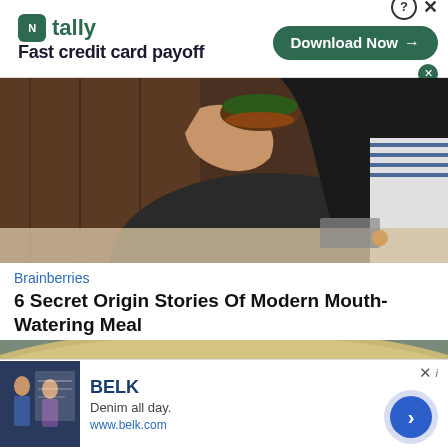[Figure (screenshot): Tally app advertisement banner with logo, 'Fast credit card payoff' tagline, and 'Download Now' button]
[Figure (photo): Woman eating a large burger at a restaurant table]
Brainberries
6 Secret Origin Stories Of Modern Mouth-Watering Meal
[Figure (photo): Close-up of bread dough or a large baked good]
[Figure (screenshot): Belk advertisement - 'Denim all day. www.belk.com' with fashion imagery and navigation arrow]